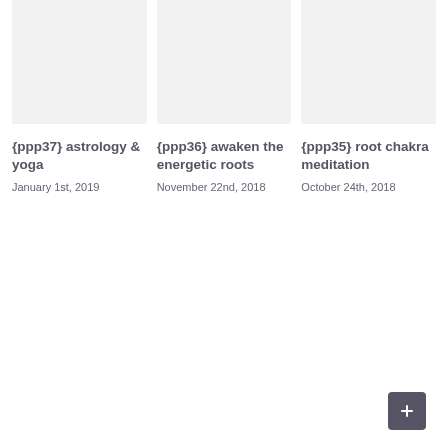[Figure (illustration): Placeholder image box for ppp37 astrology & yoga post, light gray background]
{ppp37} astrology & yoga
January 1st, 2019
[Figure (illustration): Placeholder image box for ppp36 awaken the energetic roots post, light gray background]
{ppp36} awaken the energetic roots
November 22nd, 2018
[Figure (illustration): Placeholder image box for ppp35 root chakra meditation post, light gray background]
{ppp35} root chakra meditation
October 24th, 2018